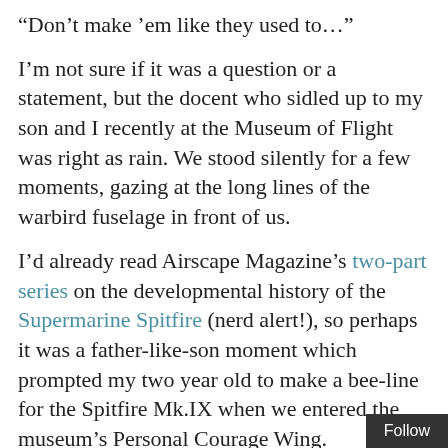“Don’t make ’em like they used to…”
I’m not sure if it was a question or a statement, but the docent who sidled up to my son and I recently at the Museum of Flight was right as rain. We stood silently for a few moments, gazing at the long lines of the warbird fuselage in front of us.
I’d already read Airscape Magazine’s two-part series on the developmental history of the Supermarine Spitfire (nerd alert!), so perhaps it was a father-like-son moment which prompted my two year old to make a bee-line for the Spitfire Mk.IX when we entered the museum’s Personal Courage Wing.
The plane itself received a once-over. But what really caught my kid’s attention was the Rolls Royce Merlin engine parked nearby. It was accompanied by an informational display and panel with a single button. I dunno if the kid is going to be a pilot when he gr…